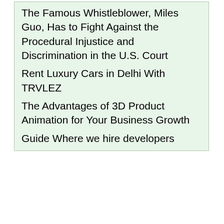The Famous Whistleblower, Miles Guo, Has to Fight Against the Procedural Injustice and Discrimination in the U.S. Court
Rent Luxury Cars in Delhi With TRVLEZ
The Advantages of 3D Product Animation for Your Business Growth
Guide Where we hire developers
advantages to your organization when your valuable assets are well-organized. Laksi Carts manufactures industrial CAT 40 Tool Carts for a wide range of industrial tooling applications where quality and mobility are a must. All tool carts and Scoots are designed for specific CNC tooling.
Laksi carts stand for its quality and mainly the raw material which it chooses was the best in the market. This article post discusses all the CNC Tool Carts. How